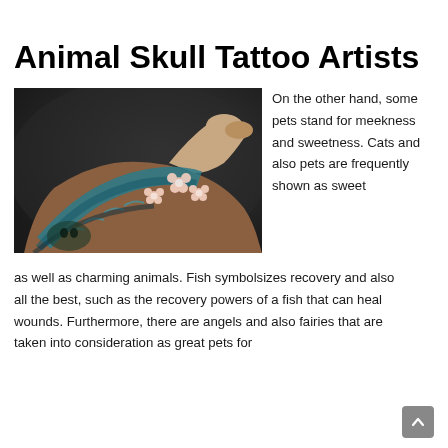Animal Skull Tattoo Artists
[Figure (photo): A tattooed arm with a sleeve tattoo featuring flowers, snake scales, and floral patterns on a dark background, fist raised upward.]
On the other hand, some pets stand for meekness and sweetness. Cats and also pets are frequently shown as sweet as well as charming animals. Fish symbolsizes recovery and also all the best, such as the recovery powers of a fish that can heal wounds. Furthermore, there are angels and also fairies that are taken into consideration as great pets for